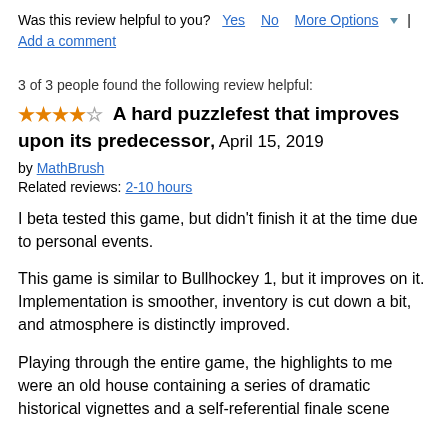Was this review helpful to you? Yes No More Options ▾ | Add a comment
3 of 3 people found the following review helpful:
★★★★☆ A hard puzzlefest that improves upon its predecessor, April 15, 2019
by MathBrush
Related reviews: 2-10 hours
I beta tested this game, but didn't finish it at the time due to personal events.
This game is similar to Bullhockey 1, but it improves on it. Implementation is smoother, inventory is cut down a bit, and atmosphere is distinctly improved.
Playing through the entire game, the highlights to me were an old house containing a series of dramatic historical vignettes and a self-referential finale scene